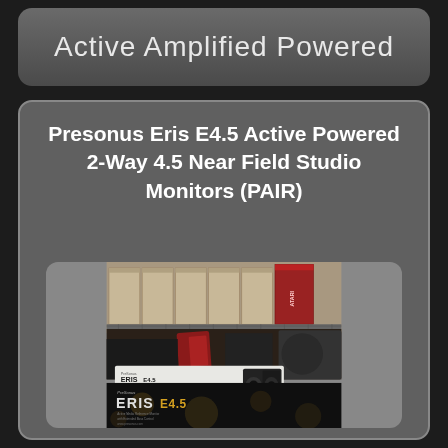Active Amplified Powered
Presonus Eris E4.5 Active Powered 2-Way 4.5 Near Field Studio Monitors (PAIR)
[Figure (photo): Photo of Presonus Eris E4.5 studio monitor boxes on a storage shelf. Top half shows cardboard boxes including an Atari box on a wire shelf. Bottom half shows the Eris E4.5 product box (white) and a dark box with 'ERIS E4.5' branding in gold lettering, with scattered items including a red guitar bag visible in the background.]